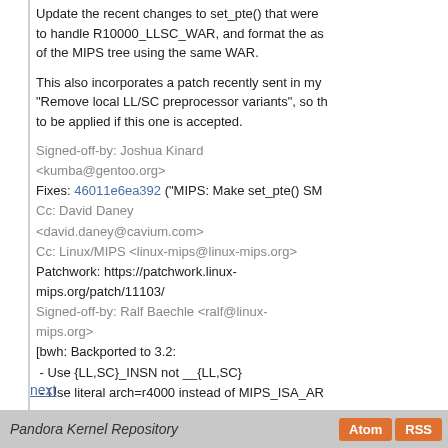Update the recent changes to set_pte() that were to handle R10000_LLSC_WAR, and format the as of the MIPS tree using the same WAR.
This also incorporates a patch recently sent in my "Remove local LL/SC preprocessor variants", so th to be applied if this one is accepted.
Signed-off-by: Joshua Kinard <kumba@gentoo.org>
Fixes: 46011e6ea392 ("MIPS: Make set_pte() SM
Cc: David Daney <david.daney@cavium.com>
Cc: Linux/MIPS <linux-mips@linux-mips.org>
Patchwork: https://patchwork.linux-mips.org/patch/11103/
Signed-off-by: Ralf Baechle <ralf@linux-mips.org>
[bwh: Backported to 3.2:
 - Use {LL,SC}_INSN not __{LL,SC}
 - Use literal arch=r4000 instead of MIPS_ISA_AR
   supported]
Signed-off-by: Ben Hutchings <ben@decadent.org.uk>
next
Pandora Kernel Repository